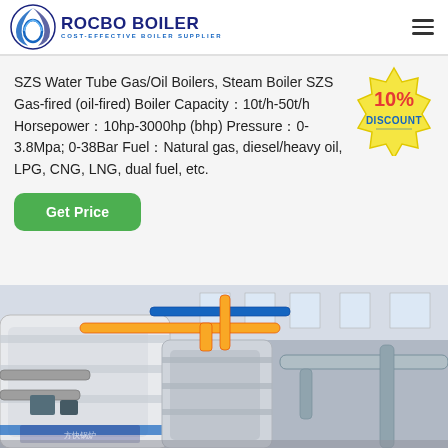ROCBO BOILER - COST-EFFECTIVE BOILER SUPPLIER
SZS Water Tube Gas/Oil Boilers, Steam Boiler SZS Gas-fired (oil-fired) Boiler Capacity：10t/h-50t/h Horsepower：10hp-3000hp (bhp) Pressure：0-3.8Mpa; 0-38Bar Fuel：Natural gas, diesel/heavy oil, LPG, CNG, LNG, dual fuel, etc.
[Figure (infographic): 10% DISCOUNT badge/sticker graphic]
[Figure (photo): Industrial boiler facility showing large white/silver insulated boilers with yellow and blue pipe systems in a factory setting]